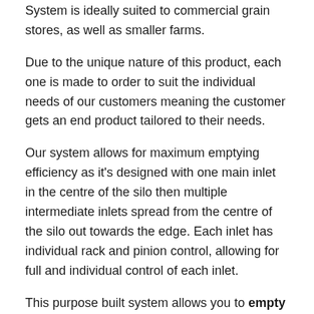System is ideally suited to commercial grain stores, as well as smaller farms.
Due to the unique nature of this product, each one is made to order to suit the individual needs of our customers meaning the customer gets an end product tailored to their needs.
Our system allows for maximum emptying efficiency as it's designed with one main inlet in the centre of the silo then multiple intermediate inlets spread from the centre of the silo out towards the edge. Each inlet has individual rack and pinion control, allowing for full and individual control of each inlet.
This purpose built system allows you to empty your